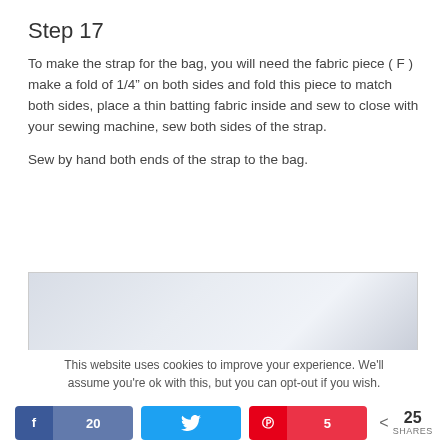Step 17
To make the strap for the bag, you will need the fabric piece ( F ) make a fold of 1/4" on both sides and fold this piece to match both sides, place a thin batting fabric inside and sew to close with your sewing machine, sew both sides of the strap.
Sew by hand both ends of the strap to the bag.
[Figure (photo): Photo area showing a sewing/fabric step, partially visible with light blue-gray gradient background]
This website uses cookies to improve your experience. We'll assume you're ok with this, but you can opt-out if you wish.
20   [Twitter share]   5   < 25 SHARES